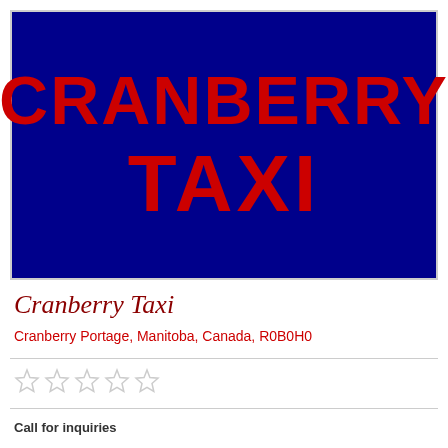[Figure (logo): Cranberry Taxi logo on dark blue background with red bold text reading CRANBERRY on top line and TAXI on second line]
Cranberry Taxi
Cranberry Portage, Manitoba, Canada, R0B0H0
[Figure (other): Five empty star rating icons]
Call for inquiries